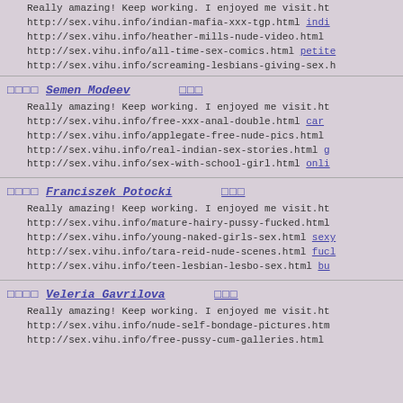Really amazing! Keep working. I enjoyed me visit.ht
http://sex.vihu.info/indian-mafia-xxx-tgp.html indi
http://sex.vihu.info/heather-mills-nude-video.html
http://sex.vihu.info/all-time-sex-comics.html petite
http://sex.vihu.info/screaming-lesbians-giving-sex.h
□□□□ Semen Modeev   □□□
Really amazing! Keep working. I enjoyed me visit.ht
http://sex.vihu.info/free-xxx-anal-double.html car
http://sex.vihu.info/applegate-free-nude-pics.html
http://sex.vihu.info/real-indian-sex-stories.html g
http://sex.vihu.info/sex-with-school-girl.html onli
□□□□ Franciszek Potocki   □□□
Really amazing! Keep working. I enjoyed me visit.ht
http://sex.vihu.info/mature-hairy-pussy-fucked.html
http://sex.vihu.info/young-naked-girls-sex.html sexy
http://sex.vihu.info/tara-reid-nude-scenes.html fucl
http://sex.vihu.info/teen-lesbian-lesbo-sex.html bu
□□□□ Veleria Gavrilova   □□□
Really amazing! Keep working. I enjoyed me visit.ht
http://sex.vihu.info/nude-self-bondage-pictures.htm
http://sex.vihu.info/free-pussy-cum-galleries.html